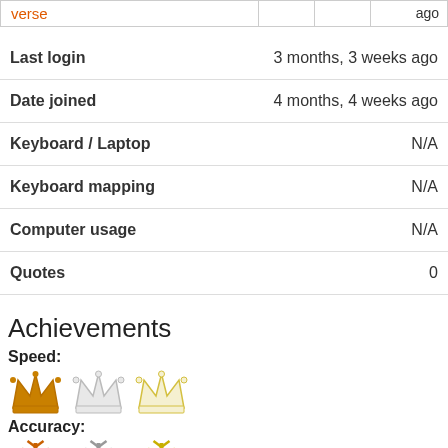| verse |  |  | ago |
| --- | --- | --- | --- |
| Field | Value |
| --- | --- |
| Last login | 3 months, 3 weeks ago |
| Date joined | 4 months, 4 weeks ago |
| Keyboard / Laptop | N/A |
| Keyboard mapping | N/A |
| Computer usage | N/A |
| Quotes | 0 |
Achievements
Speed:
[Figure (illustration): Three crown icons: gold filled, silver outline, yellow outline]
Accuracy:
[Figure (illustration): Three snowflake icons: orange filled, gray outline, yellow outline]
Quotes:
[Figure (illustration): Three circle/badge icons: peach/orange, gray, yellow]